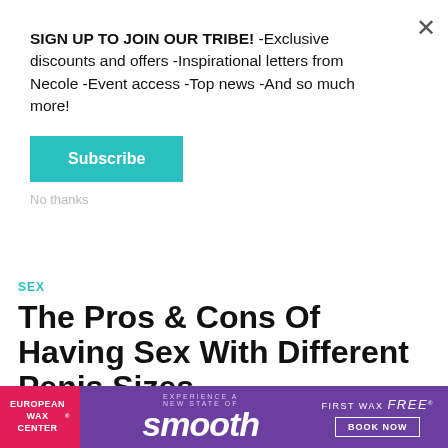SIGN UP TO JOIN OUR TRIBE! -Exclusive discounts and offers -Inspirational letters from Necole -Event access -Top news -And so much more!
Subscribe
SEX
The Pros & Cons Of Having Sex With Different Penis Sizes
ASHLEY COBB 16H
[Figure (photo): Couple intimate close-up photo, woman with highlighted hair and man with short dark hair]
[Figure (other): European Wax Center advertisement banner: 'Experience a New State of smooth' with 'First Wax free Book Now' offer on purple background with pink left panel]